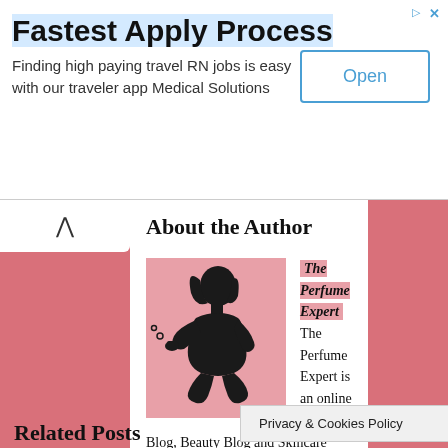[Figure (other): Advertisement banner: 'Fastest Apply Process' - Finding high paying travel RN jobs is easy with our traveler app Medical Solutions, with an Open button]
About the Author
[Figure (illustration): Silhouette of a woman smelling a perfume bottle on a pink background]
The Perfume Expert  The Perfume Expert is an online Perfume Blog, Beauty Blog and Skincare Blog all rolled into one so you can stay looking good, smelling nice and feeling great all in one place! Written by an expert you can trust, I provide you with Perfume reviews, Best Perfumes, Beauty reviews and Makeup trends that are all written with passion and an eye for excellence.
Related Posts
Privacy & Cookies Policy